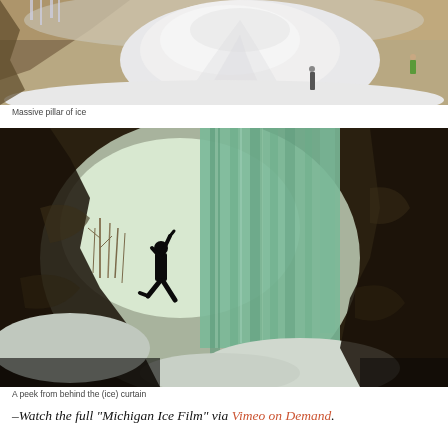[Figure (photo): Massive pillar of ice formation viewed from inside a cave or overhang, with a person in green jacket visible in background on snowy landscape]
Massive pillar of ice
[Figure (photo): A climber silhouetted against a large green-tinted frozen waterfall/ice curtain, viewed from behind inside a cave opening, with snowy winter forest in background]
A peek from behind the (ice) curtain
–Watch the full “Michigan Ice Film” via Vimeo on Demand.